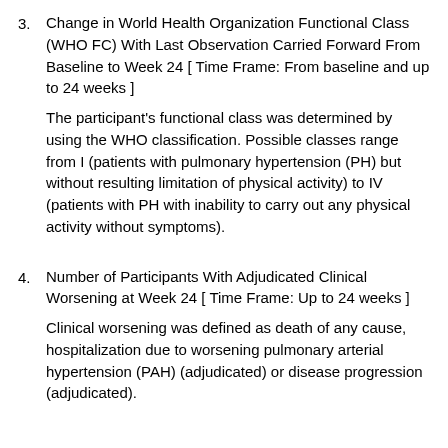3. Change in World Health Organization Functional Class (WHO FC) With Last Observation Carried Forward From Baseline to Week 24 [ Time Frame: From baseline and up to 24 weeks ]
The participant's functional class was determined by using the WHO classification. Possible classes range from I (patients with pulmonary hypertension (PH) but without resulting limitation of physical activity) to IV (patients with PH with inability to carry out any physical activity without symptoms).
4. Number of Participants With Adjudicated Clinical Worsening at Week 24 [ Time Frame: Up to 24 weeks ]
Clinical worsening was defined as death of any cause, hospitalization due to worsening pulmonary arterial hypertension (PAH) (adjudicated) or disease progression (adjudicated).